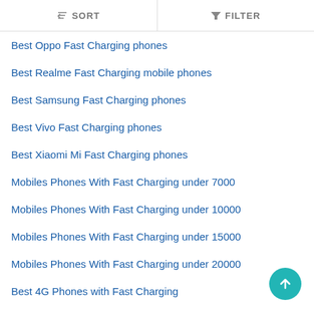SORT   FILTER
Best Oppo Fast Charging phones
Best Realme Fast Charging mobile phones
Best Samsung Fast Charging phones
Best Vivo Fast Charging phones
Best Xiaomi Mi Fast Charging phones
Mobiles Phones With Fast Charging under 7000
Mobiles Phones With Fast Charging under 10000
Mobiles Phones With Fast Charging under 15000
Mobiles Phones With Fast Charging under 20000
Best 4G Phones with Fast Charging
Best Mobiles With Wireless Charging
Best Mobiles With Fast Charging
Best Mobiles With Reverse Charging
Best 256GB iPhones
Best 3GB RAM iPhones